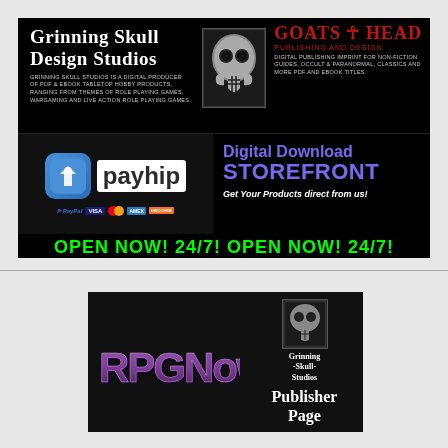[Figure (infographic): Grinning Skull Design Studios and Goats Head Publishing and Design advertisement banner on black background. Features studio name, skull image, Payhip digital storefront logo with payment icons, Digital Download Storefront text, and OPEN NOW! 24/7! in green.]
[Figure (infographic): RPGNow publisher page advertisement banner on dark background. Features RPGNow logo in purple 3D text, Grinning Skull Studios logo image, and Publisher Page text in white serif font.]